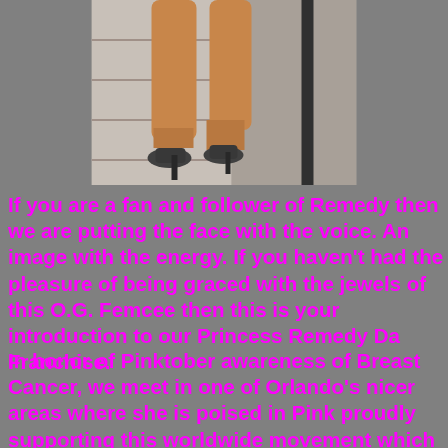[Figure (photo): Legs of a person wearing high heels on stone steps, cropped to show only the legs and feet]
If you are a fan and follower of Remedy then we are putting the face with the voice. An image with the energy. If you haven't had the pleasure of being graced with the jewels of this O.G. Femcee then this is your introduction to our Princess Remedy Da Franchise.
In honor of Pinktober awareness of Breast Cancer, we meet in one of Orlando's nicer areas where she is poised in Pink proudly supporting this worldwide movement which in my eyes says a whole lot of positive about her upon our first encounter. With a positive disposition and a great